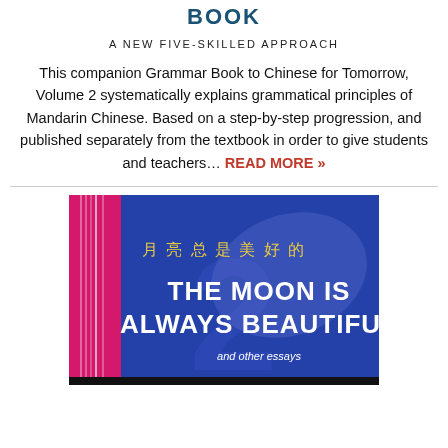BOOK
A NEW FIVE-SKILLED APPROACH
This companion Grammar Book to Chinese for Tomorrow, Volume 2 systematically explains grammatical principles of Mandarin Chinese. Based on a step-by-step progression, and published separately from the textbook in order to give students and teachers... READ MORE »
[Figure (photo): Book cover of 'The Moon Is Always Beautiful and other essays'. Blue background with pink spine element on the left. Chinese characters '月亮总是美好的' in gold, bold white English text 'THE MOON IS ALWAYS BEAUTIFUL' and subtitle 'and other essays'.]